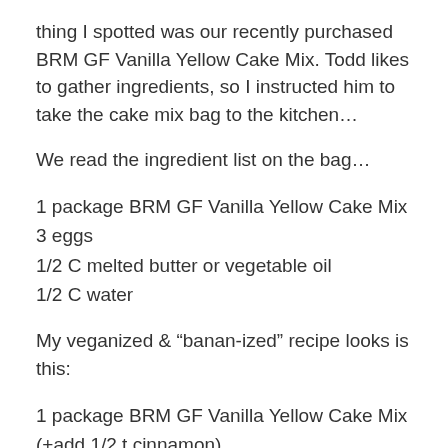thing I spotted was our recently purchased BRM GF Vanilla Yellow Cake Mix. Todd likes to gather ingredients, so I instructed him to take the cake mix bag to the kitchen…
We read the ingredient list on the bag…
1 package BRM GF Vanilla Yellow Cake Mix
3 eggs
1/2 C melted butter or vegetable oil
1/2 C water
My veganized & “banan-ized” recipe looks is this:
1 package BRM GF Vanilla Yellow Cake Mix
(+add 1/2 t cinnamon)
3 ripe bananas
1/2 C Earth Balance